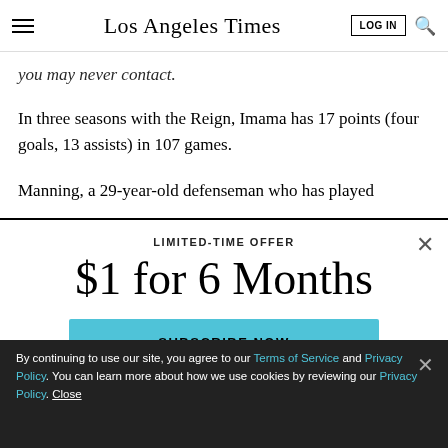Los Angeles Times
you may never contact.
In three seasons with the Reign, Imama has 17 points (four goals, 13 assists) in 107 games.
Manning, a 29-year-old defenseman who has played
LIMITED-TIME OFFER
$1 for 6 Months
SUBSCRIBE NOW
By continuing to use our site, you agree to our Terms of Service and Privacy Policy. You can learn more about how we use cookies by reviewing our Privacy Policy. Close